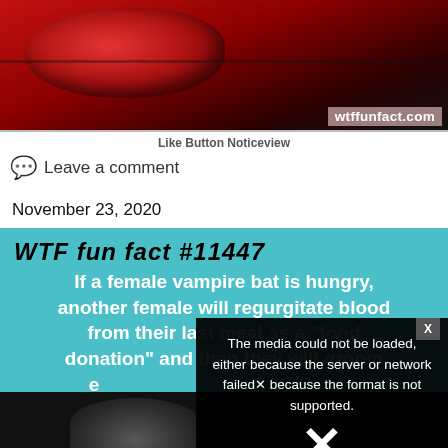[Figure (photo): Red ruby slippers on dark background with wtffunfact.com watermark]
Like Button Noticeview
Leave a comment
November 23, 2020
WTF fun fact #11447
If a female vampire bat is hungry, another female will regurgitate blood from their last meal as a "food donation" and then they will groom e
[Figure (screenshot): Media error overlay: The media could not be loaded, either because the server or network failed or because the format is not supported. Large X icon shown.]
[Figure (photo): Black background with partial cat image visible at bottom]